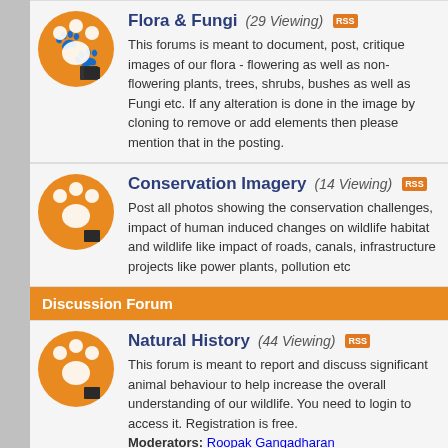Flora & Fungi (29 Viewing) — This forums is meant to document, post, critique images of our flora - flowering as well as non-flowering plants, trees, shrubs, bushes as well as Fungi etc. If any alteration is done in the image by cloning to remove or add elements then please mention that in the posting.
Conservation Imagery (14 Viewing) — Post all photos showing the conservation challenges, impact of human induced changes on wildlife habitat and wildlife like impact of roads, canals, infrastructure projects like power plants, pollution etc
Discussion Forum
Natural History (44 Viewing) — This forum is meant to report and discuss significant animal behaviour to help increase the overall understanding of our wildlife. You need to login to access it. Registration is free. Moderators: Roopak Gangadharan
Sounds of Nature (1 Viewing) — You can upload Sounds of nature - the wind, the rain, the streams, earthquakes, volcanoes, including animals, birds, insects etc. Please don't upload simulated sounds.
Wilderness Updates (partial)